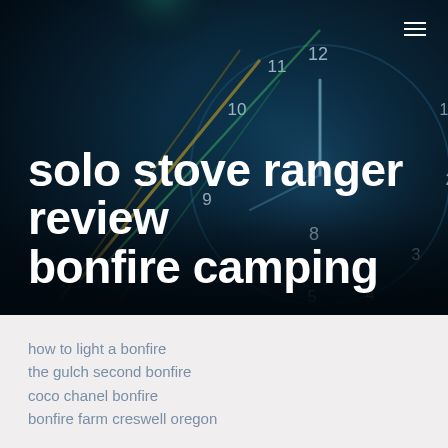[Figure (photo): Dark hero image background showing a clock face with teal/blue color overlay and abstract light streaks, serving as background for the page header]
solo stove ranger review bonfire camping
how to light a bonfire
the gulch second bonfire
coco chanel bonfire
bonfire farm creswell oregon